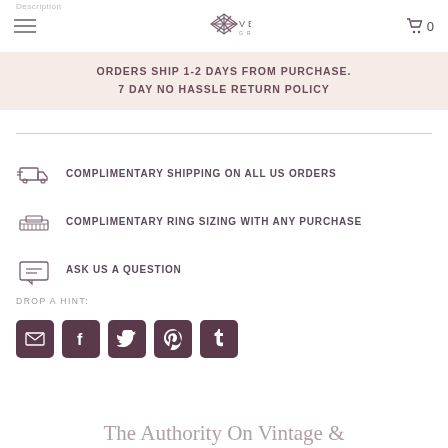Verma Group
ORDERS SHIP 1-2 DAYS FROM PURCHASE.
7 DAY NO HASSLE RETURN POLICY
COMPLIMENTARY SHIPPING ON ALL US ORDERS
COMPLIMENTARY RING SIZING WITH ANY PURCHASE
ASK US A QUESTION
DROP A HINT:
[Figure (other): Social sharing buttons: email, Facebook, Twitter, Pinterest, Tumblr]
The Authority On Vintage &